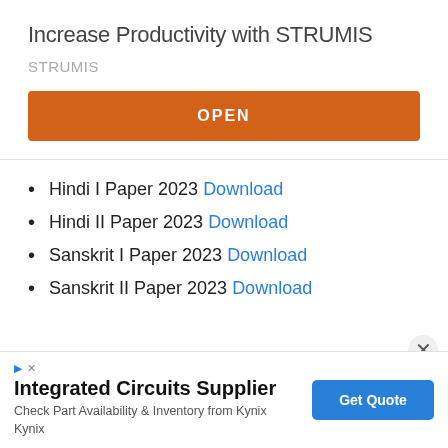Increase Productivity with STRUMIS
STRUMIS
OPEN
Hindi I Paper 2023 Download
Hindi II Paper 2023 Download
Sanskrit I Paper 2023 Download
Sanskrit II Paper 2023 Download
[Figure (other): Bottom advertisement banner for Integrated Circuits Supplier (Kynix) with Get Quote button and close controls]
Integrated Circuits Supplier
Check Part Availability & Inventory from Kynix
Kynix